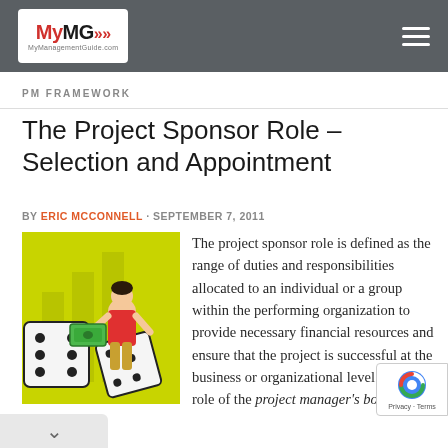MyMG MyManagementGuide.com
PM FRAMEWORK
The Project Sponsor Role – Selection and Appointment
BY ERIC MCCONNELL · SEPTEMBER 7, 2011
[Figure (illustration): Cartoon illustration of a businessman holding money/cash bills standing next to large dice on a yellow-green background]
The project sponsor role is defined as the range of duties and responsibilities allocated to an individual or a group within the performing organization to provide necessary financial resources and ensure that the project is successful at the business or organizational level. It is the role of the project manager's boss.